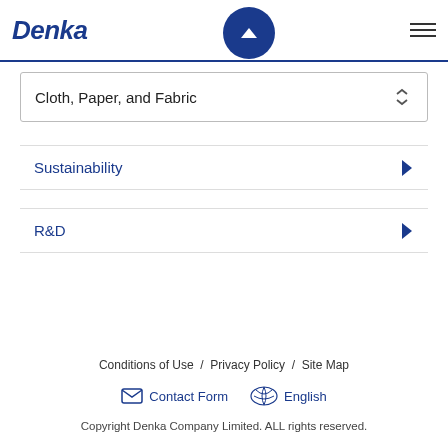Denka
Cloth, Paper, and Fabric
Sustainability
R&D
Conditions of Use  /  Privacy Policy  /  Site Map
Contact Form   English
Copyright Denka Company Limited. ALL rights reserved.